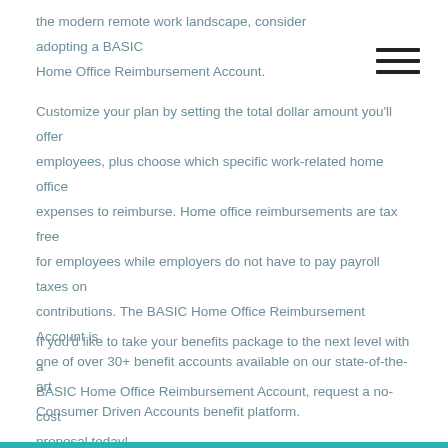the modern remote work landscape, consider adopting a BASIC Home Office Reimbursement Account.
Customize your plan by setting the total dollar amount you'll offer employees, plus choose which specific work-related home office expenses to reimburse. Home office reimbursements are tax free for employees while employers do not have to pay payroll taxes on contributions. The BASIC Home Office Reimbursement Account is one of over 30+ benefit accounts available on our state-of-the-art Consumer Driven Accounts benefit platform.
If you'd like to take your benefits package to the next level with a BASIC Home Office Reimbursement Account, request a no-cost proposal today!